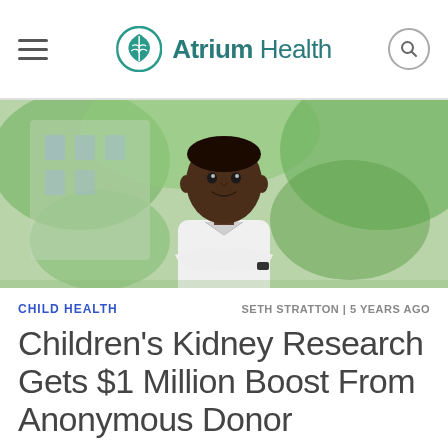Atrium Health
[Figure (photo): A young Black boy with arms crossed, smiling, wearing a white shirt, standing outdoors with green foliage in the background]
CHILD HEALTH
SETH STRATTON | 5 YEARS AGO
Children's Kidney Research Gets $1 Million Boost From Anonymous Donor